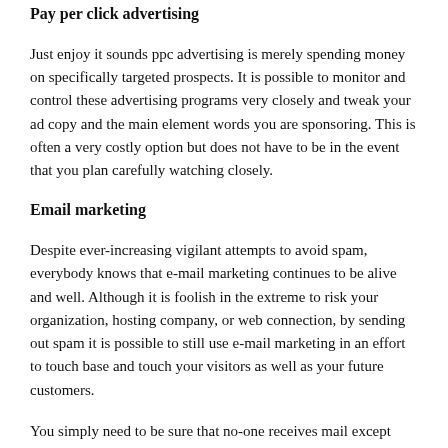Pay per click advertising
Just enjoy it sounds ppc advertising is merely spending money on specifically targeted prospects. It is possible to monitor and control these advertising programs very closely and tweak your ad copy and the main element words you are sponsoring. This is often a very costly option but does not have to be in the event that you plan carefully watching closely.
Email marketing
Despite ever-increasing vigilant attempts to avoid spam, everybody knows that e-mail marketing continues to be alive and well. Although it is foolish in the extreme to risk your organization, hosting company, or web connection, by sending out spam it is possible to still use e-mail marketing in an effort to touch base and touch your visitors as well as your future customers.
You simply need to be sure that no-one receives mail except individuals who require it. Folks are still ready to join mailing lists–especially for those who have something to provide them in